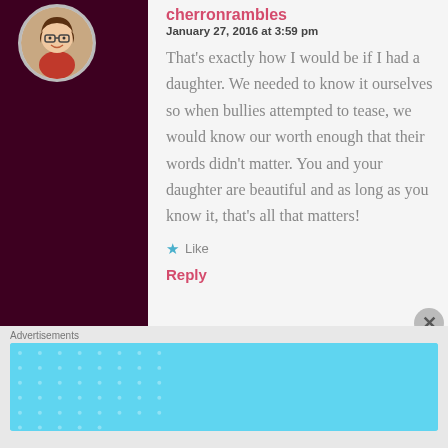[Figure (illustration): Circular avatar of a cartoon woman with glasses and brown hair on dark maroon background sidebar]
cherronrambles
January 27, 2016 at 3:59 pm
That's exactly how I would be if I had a daughter. We needed to know it ourselves so when bullies attempted to tease, we would know our worth enough that their words didn't matter. You and your daughter are beautiful and as long as you know it, that's all that matters!
Like
Reply
Advertisements
[Figure (screenshot): DayOne journaling app advertisement banner with text 'The only journaling app you'll ever need.' on light blue background]